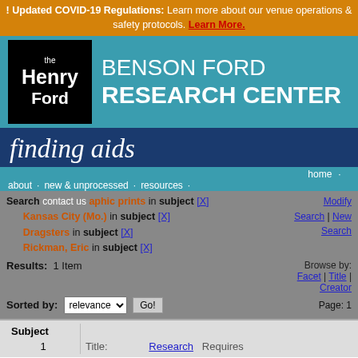! Updated COVID-19 Regulations: Learn more about our venue operations & safety protocols. Learn More.
[Figure (logo): Benson Ford Research Center logo with The Henry Ford text and teal background]
BENSON FORD RESEARCH CENTER
finding aids
home · about · new & unprocessed · resources · contact us
Search: Photographic prints in subject [X] Kansas City (Mo.) in subject [X] Dragsters in subject [X] Rickman, Eric in subject [X]
Modify Search | New Search
Browse by: Facet | Title | Creator
Results: 1 Item
Sorted by: relevance   Go!   Page: 1
| Subject |  |  |
| --- | --- | --- |
| 1 | Title: | Research   Requires |